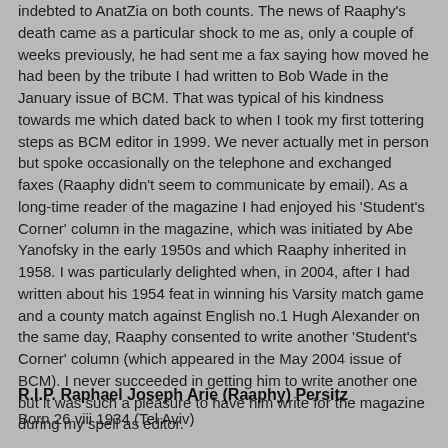indebted to AnatZia on both counts. The news of Raaphy's death came as a particular shock to me as, only a couple of weeks previously, he had sent me a fax saying how moved he had been by the tribute I had written to Bob Wade in the January issue of BCM. That was typical of his kindness towards me which dated back to when I took my first tottering steps as BCM editor in 1999. We never actually met in person but spoke occasionally on the telephone and exchanged faxes (Raaphy didn't seem to communicate by email). As a long-time reader of the magazine I had enjoyed his 'Student's Corner' column in the magazine, which was initiated by Abe Yanofsky in the early 1950s and which Raaphy inherited in 1958. I was particularly delighted when, in 2004, after I had written about his 1954 feat in winning his Varsity match game and a county match against English no.1 Hugh Alexander on the same day, Raaphy consented to write another 'Student's Corner' column (which appeared in the May 2004 issue of BCM). I never succeeded in getting him to write another one but it was such a pleasure to have him write for the magazine during my spell as editor.
R.I.P. Raphael Joseph Arie (Raaphy) Persitz
Born 26 viii 1934 (Tel Aviv)